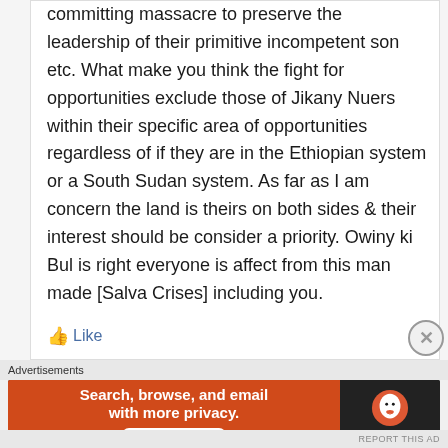committing massacre to preserve the leadership of their primitive incompetent son etc. What make you think the fight for opportunities exclude those of Jikany Nuers within their specific area of opportunities regardless of if they are in the Ethiopian system or a South Sudan system. As far as I am concern the land is theirs on both sides & their interest should be consider a priority. Owiny ki Bul is right everyone is affect from this man made [Salva Crises] including you.
[Figure (screenshot): Advertisement banner: DuckDuckGo app ad with orange background on left reading 'Search, browse, and email with more privacy. All in One Free App' and DuckDuckGo duck logo on dark right side.]